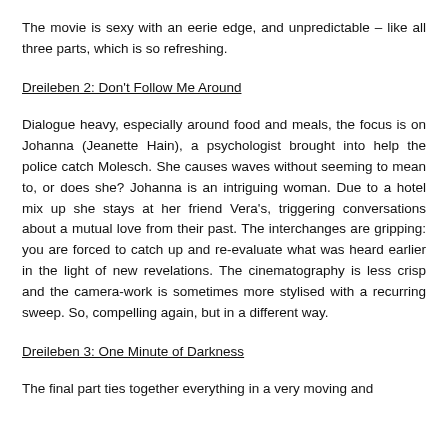The movie is sexy with an eerie edge, and unpredictable – like all three parts, which is so refreshing.
Dreileben 2: Don't Follow Me Around
Dialogue heavy, especially around food and meals, the focus is on Johanna (Jeanette Hain), a psychologist brought into help the police catch Molesch. She causes waves without seeming to mean to, or does she? Johanna is an intriguing woman. Due to a hotel mix up she stays at her friend Vera's, triggering conversations about a mutual love from their past. The interchanges are gripping: you are forced to catch up and re-evaluate what was heard earlier in the light of new revelations. The cinematography is less crisp and the camera-work is sometimes more stylised with a recurring sweep. So, compelling again, but in a different way.
Dreileben 3: One Minute of Darkness
The final part ties together everything in a very moving and